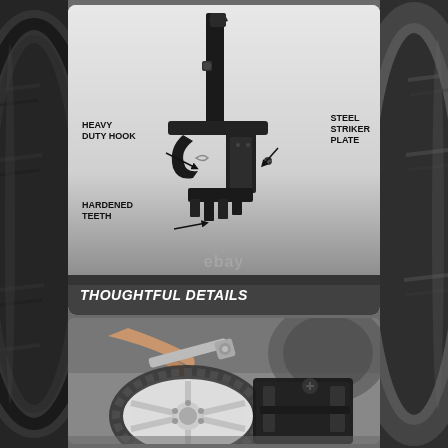[Figure (photo): Black metal tire bead breaker tool shown in close-up with labeled parts: Heavy Duty Hook (arrow pointing to upper hook), Steel Striker Plate (arrow pointing to right side plate), and Hardened Teeth (arrow pointing to lower teeth). Text overlay at bottom reads THOUGHTFUL DETAILS. Faint ebay watermark visible.]
[Figure (photo): Action photo showing the bead breaker tool being used on a small ATV/UTV wheel and tire. A person is using a wrench to operate the tool. The wheel has a white 5-spoke rim with an off-road tire being broken from the bead.]